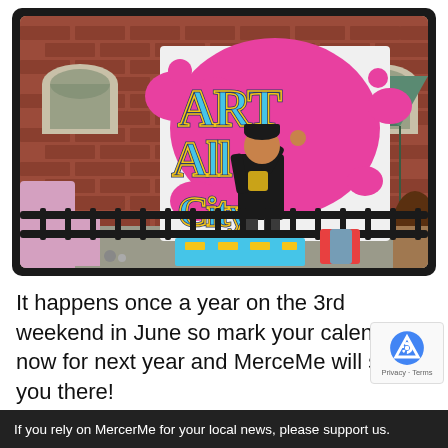[Figure (photo): Person in black t-shirt painting a large colorful graffiti-style artwork on a canvas/board outdoors, in front of a brick building. The artwork shows graffiti letters in blue, pink, yellow outline style. A green tent canopy is visible in the background. Black metal barriers are in the foreground. People visible on edges.]
It happens once a year on the 3rd weekend in June so mark your calendar now for next year and MerceMe will see you there!
If you rely on MercerMe for your local news, please support us.